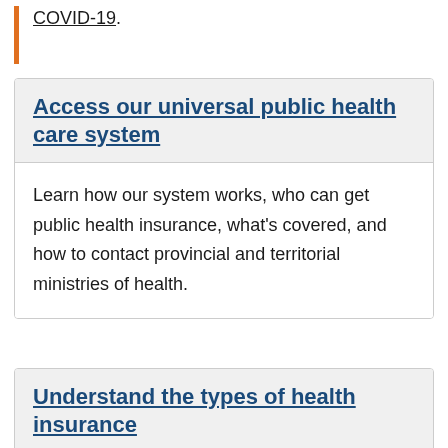COVID-19.
Access our universal public health care system
Learn how our system works, who can get public health insurance, what's covered, and how to contact provincial and territorial ministries of health.
Understand the types of health insurance
Public health insurance is only one of the